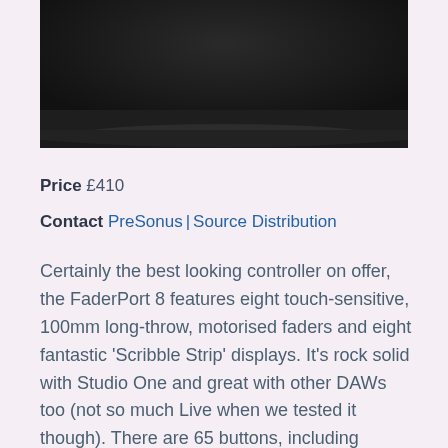[Figure (photo): Bottom portion of a dark/black FaderPort 8 hardware device on a light pink/lavender background]
Price £410
Contact PreSonus | Source Distribution
Certainly the best looking controller on offer, the FaderPort 8 features eight touch-sensitive, 100mm long-throw, motorised faders and eight fantastic 'Scribble Strip' displays. It's rock solid with Studio One and great with other DAWs too (not so much Live when we tested it though). There are 65 buttons, including transport controls, with 78 functions, and even options to zoom in and out